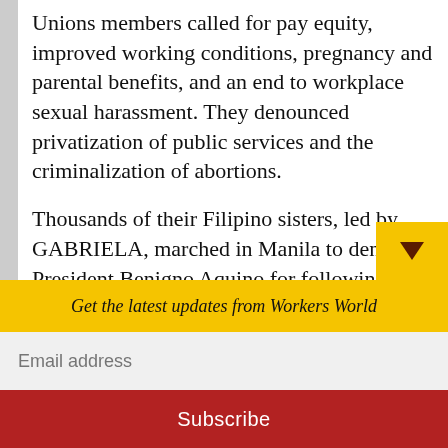Unions members called for pay equity, improved working conditions, pregnancy and parental benefits, and an end to workplace sexual harassment. They denounced privatization of public services and the criminalization of abortions.
Thousands of their Filipino sisters, led by GABRIELA, marched in Manila to denounce President Benigno Aquino for following U.S. dictates, denying social services and allowing food prices to soar. There and in Baguio City the Rising for Justice campaign slammed hi
Get the latest updates from Workers World
Email address
Subscribe